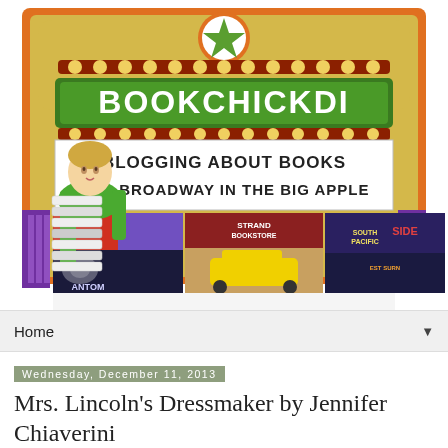[Figure (logo): BookChickDi blog header banner — theater marquee style logo with 'BOOKCHICKDI' in green letters, tagline 'BLOGGING ABOUT BOOKS AND BROADWAY IN THE BIG APPLE', cartoon woman holding stack of books, three photos showing Broadway posters and Strand Bookstore with yellow taxi]
Home
Wednesday, December 11, 2013
Mrs. Lincoln's Dressmaker by Jennifer Chiaverini